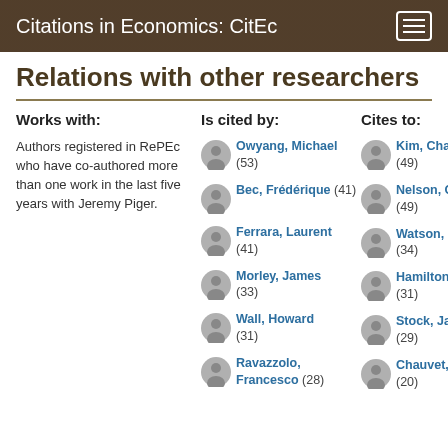Citations in Economics: CitEc
Relations with other researchers
Works with:
Is cited by:
Cites to:
Authors registered in RePEc who have co-authored more than one work in the last five years with Jeremy Piger.
Owyang, Michael (53)
Bec, Frédérique (41)
Ferrara, Laurent (41)
Morley, James (33)
Wall, Howard (31)
Ravazzolo, Francesco (28)
Kim, Chang-Jin (49)
Nelson, Charles (49)
Watson, Mark (34)
Hamilton, James (31)
Stock, James (29)
Chauvet, Marcelle (20)